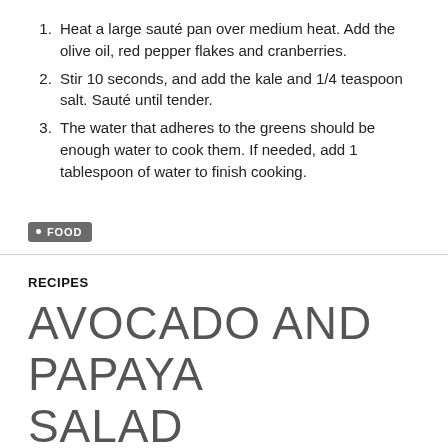Heat a large sauté pan over medium heat. Add the olive oil, red pepper flakes and cranberries.
Stir 10 seconds, and add the kale and 1/4 teaspoon salt. Sauté until tender.
The water that adheres to the greens should be enough water to cook them. If needed, add 1 tablespoon of water to finish cooking.
• FOOD
RECIPES
AVOCADO AND PAPAYA SALAD